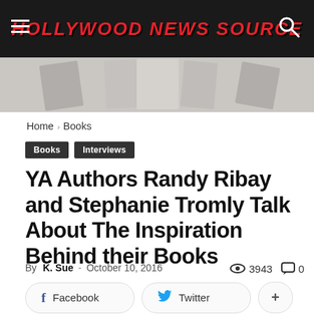HOLLYWOOD NEWS SOURCE
Home › Books
Books   Interviews
YA Authors Randy Ribay and Stephanie Tromly Talk About The Inspiration Behind their Books
By K. Sue - October 10, 2016   3943   0
Facebook   Twitter   +